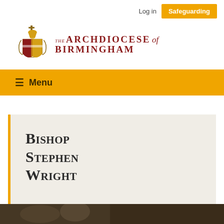Log in  Safeguarding
[Figure (logo): Archdiocese of Birmingham coat of arms logo with THE ARCHDIOCESE of BIRMINGHAM text]
Menu
Bishop Stephen Wright
[Figure (photo): Partial photo strip at bottom of page showing a person]